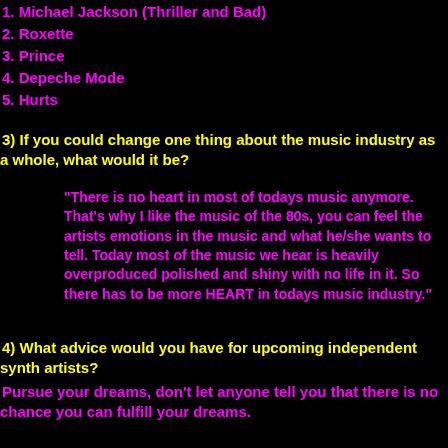1. Michael Jackson (Thriller and Bad)
2. Roxette
3. Prince
4. Depeche Mode
5. Hurts
3) If you could change one thing about the music industry as a whole, what would it be?
"There is no heart in most of todays music anymore. That's why I like the music of the 80s, you can feel the artists emotions in the music and what he/she wants to tell. Today most of the music we hear is heavily overproduced polished and shiny with no life in it. So there has to be more HEART in todays music industry."
4) What advice would you have for upcoming independent synth artists?
Pursue your dreams, don't let anyone tell you that there is no chance you can fulfill your dreams.